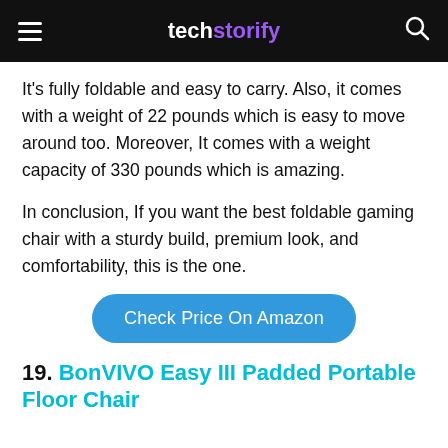techstorify
It's fully foldable and easy to carry. Also, it comes with a weight of 22 pounds which is easy to move around too. Moreover, It comes with a weight capacity of 330 pounds which is amazing.
In conclusion, If you want the best foldable gaming chair with a sturdy build, premium look, and comfortability, this is the one.
Check Price On Amazon
19. BonVIVO Easy III Padded Portable Floor Chair